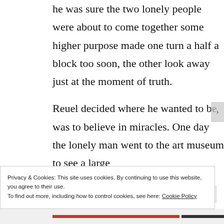he was sure the two lonely people were about to come together some higher purpose made one turn a half a block too soon, the other look away just at the moment of truth. Reuel decided where he wanted to be was to believe in miracles. One day the lonely man went to the art museum to see a large
Privacy & Cookies: This site uses cookies. By continuing to use this website, you agree to their use.
To find out more, including how to control cookies, see here: Cookie Policy
Close and accept